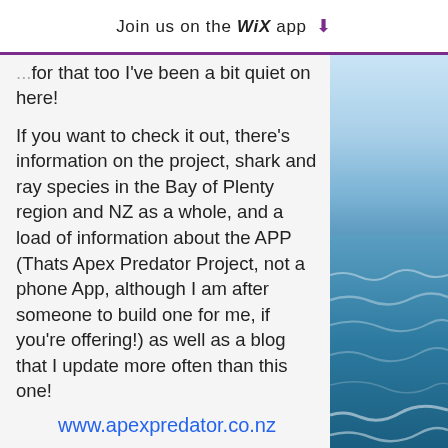Join us on the WiX app ⬇
for that too I've been a bit quiet on here!
If you want to check it out, there's information on the project, shark and ray species in the Bay of Plenty region and NZ as a whole, and a load of information about the APP (Thats Apex Predator Project, not a phone App, although I am after someone to build one for me, if you're offering!) as well as a blog that I update more often than this one!
www.apexpredator.co.nz
It's pretty cool, I'm having fun with it!
I'm also pretty active on twitter
[Figure (photo): Ocean/beach scene with blue sky and waves, visible on the right side of the page]